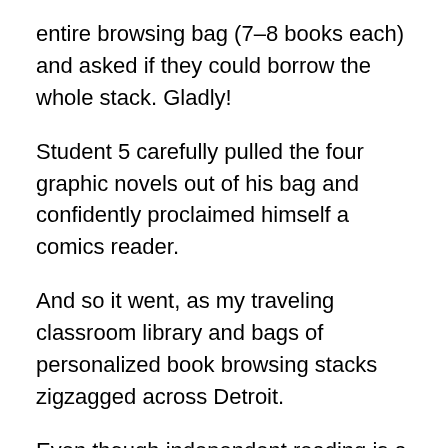entire browsing bag (7–8 books each) and asked if they could borrow the whole stack. Gladly!
Student 5 carefully pulled the four graphic novels out of his bag and confidently proclaimed himself a comics reader.
And so it went, as my traveling classroom library and bags of personalized book browsing stacks zigzagged across Detroit.
Even though independent reading is a staple of every class I've ever taught, I thought long and hard about whether I really wanted to tackle its logistical challenges in the fully remote classroom. What would take a matter of minutes if we were face-to-face in the